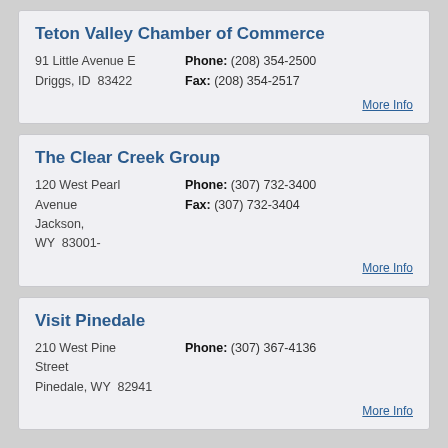Teton Valley Chamber of Commerce
91 Little Avenue E   Phone: (208) 354-2500
Driggs, ID  83422      Fax: (208) 354-2517
More Info
The Clear Creek Group
120 West Pearl Avenue
Jackson,
WY  83001-   Phone: (307) 732-3400  Fax: (307) 732-3404
More Info
Visit Pinedale
210 West Pine Street
Pinedale, WY  82941   Phone: (307) 367-4136
More Info